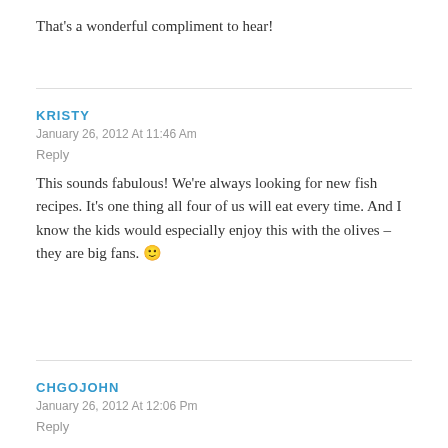That's a wonderful compliment to hear!
KRISTY
January 26, 2012 At 11:46 Am
Reply
This sounds fabulous! We're always looking for new fish recipes. It's one thing all four of us will eat every time. And I know the kids would especially enjoy this with the olives – they are big fans. 🙂
CHGOJOHN
January 26, 2012 At 12:06 Pm
Reply